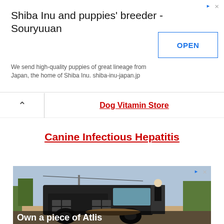[Figure (screenshot): Advertisement banner for Shiba Inu breeder Souryuuan with OPEN button]
Shiba Inu and puppies' breeder - Souryuuan
We send high-quality puppies of great lineage from Japan, the home of Shiba Inu. shiba-inu-japan.jp
Dog Vitamin Store
Canine Infectious Hepatitis
[Figure (photo): Advertisement showing a black armored truck-style vehicle with a person standing at the open door, outdoor setting with trees. Caption reads: Own a piece of Atlis]